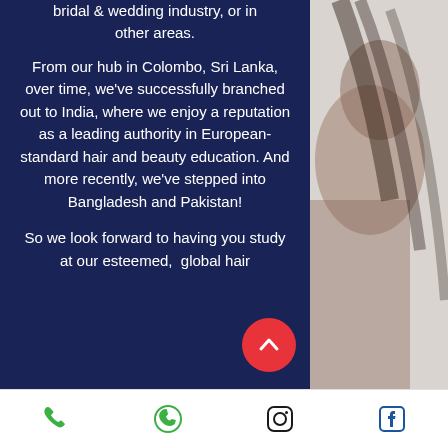bridal & wedding industry, or in other areas.
From our hub in Colombo, Sri Lanka, over time, we've successfully branched out to India, where we enjoy a reputation as a leading authority in European-standard hair and beauty education. And more recently, we've stepped into Bangladesh and Pakistan!
So we look forward to having you study at our esteemed, global hair
Phone | WhatsApp | Instagram | Facebook